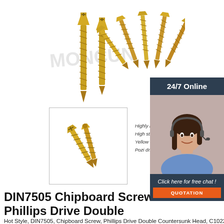[Figure (photo): Main product image showing two tall slender yellow/gold chipboard screws standing upright on the left, and a fan arrangement of multiple gold screws on the right, with a watermark text in the middle. White background.]
[Figure (photo): Thumbnail image showing two gold/yellow Phillips countersunk chipboard screws lying at angles on a white background.]
Highly hardened carbon ste...
High strength and unbreakal...
Yellow galvanised
Pozi drive fast tapping threa...
[Figure (photo): Sidebar image of a smiling woman with dark hair wearing a headset and blue shirt, representing a 24/7 online customer service agent.]
DIN7505 Chipboard Screw Phillips Drive Double
Hot Style, DIN7505, Chipboard Screw, Phillips Drive Double Countersunk Head, C1022 Carbon Steel, Tapping Screw, Zinc Plated. High Quality, Din Standard(ISO 9001 Certification), Cheap Factory Price, Fasteners Wholesale, Best Furniture Hardware In China.
Get Price